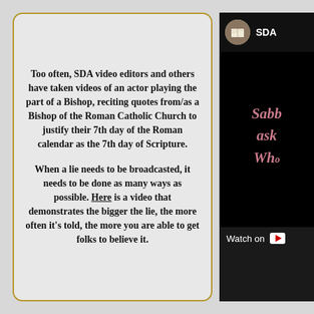Too often, SDA video editors and others have taken videos of an actor playing the part of a Bishop, reciting quotes from/as a Bishop of the Roman Catholic Church to justify their 7th day of the Roman calendar as the 7th day of Scripture.

When a lie needs to be broadcasted, it needs to be done as many ways as possible. Here is a video that demonstrates the bigger the lie, the more often it's told, the more you are able to get folks to believe it.
[Figure (screenshot): A YouTube video thumbnail showing 'SDA' channel with an open Bible avatar icon, and partially visible text 'Sabb... ask... Wh...' in pink/mauve colored text on a black background, with a 'Watch on' YouTube button at the bottom.]